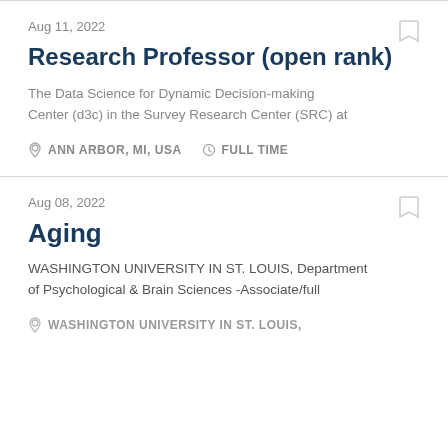Aug 11, 2022
Research Professor (open rank)
The Data Science for Dynamic Decision-making Center (d3c) in the Survey Research Center (SRC) at
ANN ARBOR, MI, USA   FULL TIME
Aug 08, 2022
Aging
WASHINGTON UNIVERSITY IN ST. LOUIS, Department of Psychological & Brain Sciences -Associate/full
WASHINGTON UNIVERSITY IN ST. LOUIS,